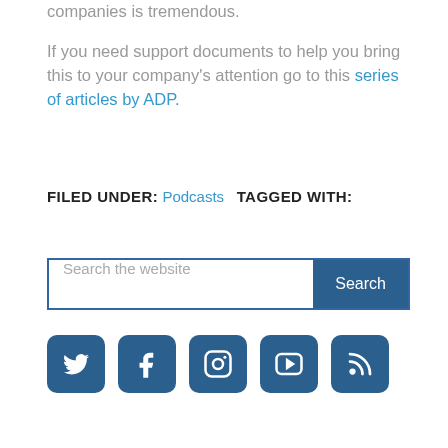companies is tremendous.

If you need support documents to help you bring this to your company's attention go to this series of articles by ADP.
FILED UNDER: Podcasts   TAGGED WITH:
[Figure (other): Search bar with text 'Search the website' and a blue Search button]
[Figure (other): Social media icons: Twitter, Facebook, Instagram, YouTube, RSS — all in blue rounded square buttons]